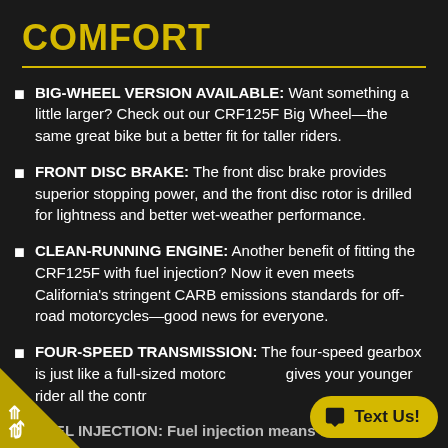COMFORT
BIG-WHEEL VERSION AVAILABLE: Want something a little larger? Check out our CRF125F Big Wheel—the same great bike but a better fit for taller riders.
FRONT DISC BRAKE: The front disc brake provides superior stopping power, and the front disc rotor is drilled for lightness and better wet-weather performance.
CLEAN-RUNNING ENGINE: Another benefit of fitting the CRF125F with fuel injection? Now it even meets California's stringent CARB emissions standards for off-road motorcycles—good news for everyone.
FOUR-SPEED TRANSMISSION: The four-speed gearbox is just like a full-sized motorcycle and gives your younger rider all the control they need.
FUEL INJECTION: Fuel injection means the...